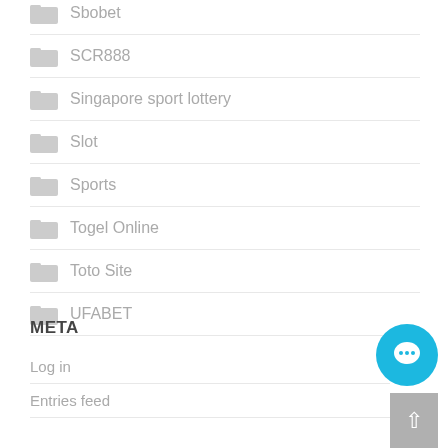Sbobet
SCR888
Singapore sport lottery
Slot
Sports
Togel Online
Toto Site
UFABET
META
Log in
Entries feed